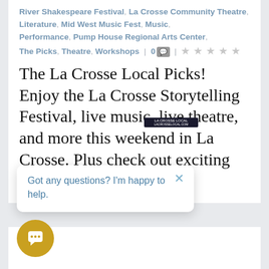River Shakespeare Festival, La Crosse Community Theatre, Literature, Mid West Music Fest, Music, Performance, Pump House Regional Arts Center, The Picks, Theatre, Workshops | 0 💬 | ☆☆☆☆☆
The La Crosse Local Picks! Enjoy the La Crosse Storytelling Festival, live music, live theatre, and more this weekend in La Crosse. Plus check out exciting upcoming events in the
[Figure (screenshot): Chat popup overlay with close button (×) and text: Got any questions? I'm happy to help.]
[Figure (other): Gold circular chat button with speech bubble icon at bottom left]